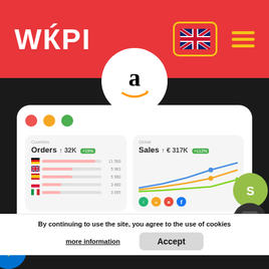[Figure (screenshot): WAPI website header with red background, WAPI logo in white, UK flag in yellow-bordered box, and yellow hamburger menu icon]
[Figure (logo): Amazon logo (lowercase 'a' with orange arrow smile) in white circle on dark background]
[Figure (screenshot): Dashboard UI screenshot showing Orders 32K card with country bar chart (Germany 11,500; UK 5,963; Spain 5,900; Poland 3,660; Italy 3,655) and Sales €317K line chart with multiple series and platform icons]
By continuing to use the site, you agree to the use of cookies
more information
Accept